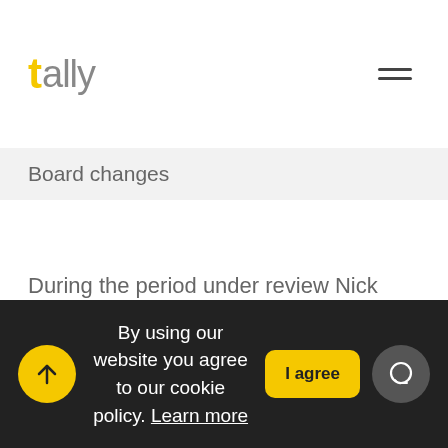[Figure (logo): Tally logo with yellow T and gray text]
Board changes
During the period under review Nick Spencer, the CEO of Kolar Gold, and the Company reached
By using our website you agree to our cookie policy. Learn more  I agree